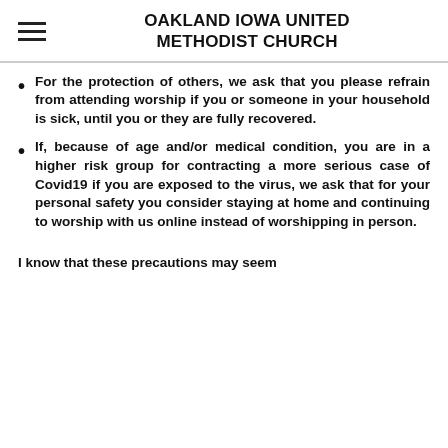OAKLAND IOWA UNITED METHODIST CHURCH
For the protection of others, we ask that you please refrain from attending worship if you or someone in your household is sick, until you or they are fully recovered.
If, because of age and/or medical condition, you are in a higher risk group for contracting a more serious case of Covid19 if you are exposed to the virus, we ask that for your personal safety you consider staying at home and continuing to worship with us online instead of worshipping in person.
I know that these precautions may seem